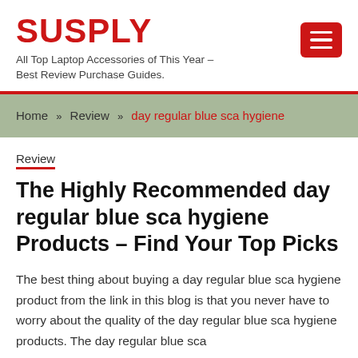SUSPLY
All Top Laptop Accessories of This Year – Best Review Purchase Guides.
Home » Review » day regular blue sca hygiene
Review
The Highly Recommended day regular blue sca hygiene Products – Find Your Top Picks
The best thing about buying a day regular blue sca hygiene product from the link in this blog is that you never have to worry about the quality of the day regular blue sca hygiene products. The day regular blue sca